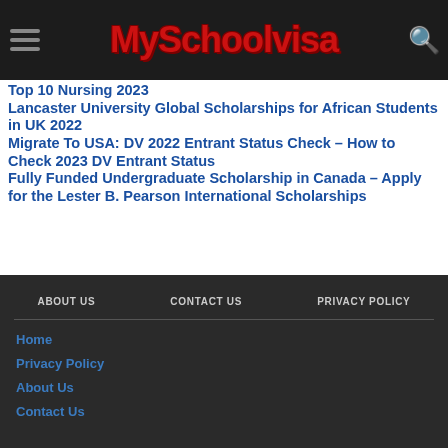MySchoolvisa
Top 10 Nursing ... 2023
Lancaster University Global Scholarships for African Students in UK 2022
Migrate To USA: DV 2022 Entrant Status Check – How to Check 2023 DV Entrant Status
Fully Funded Undergraduate Scholarship in Canada – Apply for the Lester B. Pearson International Scholarships
ABOUT US  CONTACT US  PRIVACY POLICY
Home
Privacy Policy
About Us
Contact Us